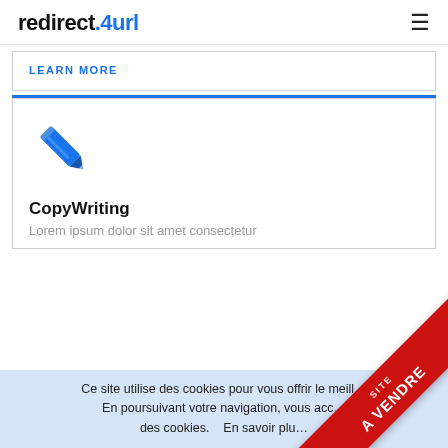redirect.4url
LEARN MORE
[Figure (illustration): Blue pencil/writing icon]
CopyWriting
Lorem ipsum dolor sit amet consectetur
Ce site utilise des cookies pour vous offrir le meilleur service. En poursuivant votre navigation, vous acceptez l'utilisation des cookies.    En savoir plus
[Figure (illustration): Red diagonal ribbon overlay with text SITE A VENDRE]